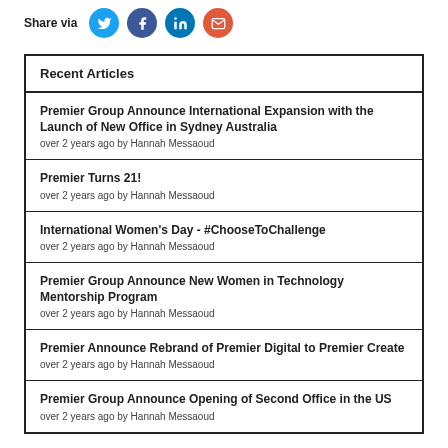Share via
Recent Articles
Premier Group Announce International Expansion with the Launch of New Office in Sydney Australia
over 2 years ago by Hannah Messaoud
Premier Turns 21!
over 2 years ago by Hannah Messaoud
International Women's Day - #ChooseToChallenge
over 2 years ago by Hannah Messaoud
Premier Group Announce New Women in Technology Mentorship Program
over 2 years ago by Hannah Messaoud
Premier Announce Rebrand of Premier Digital to Premier Create
over 2 years ago by Hannah Messaoud
Premier Group Announce Opening of Second Office in the US
over 2 years ago by Hannah Messaoud